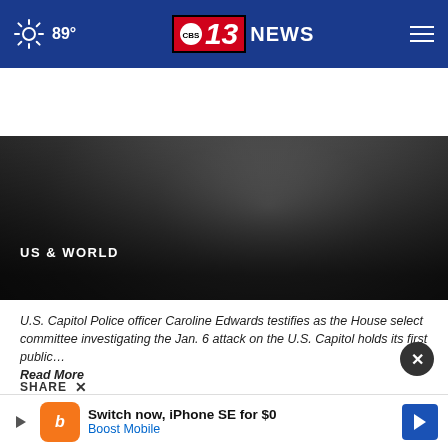89° | CBS 13 NEWS
[Figure (photo): Dark background hero image with blurred figure, overlaid with category label and article headline]
US & WORLD
Capitol officer recounts Jan. 6 'war scene' in her testimony
U.S. Capitol Police officer Caroline Edwards testifies as the House select committee investigating the Jan. 6 attack on the U.S. Capitol holds its first public…
Read More
by: FARNOUSH AMIRI, Associated Press
Posted: Jun 10, 2022 / 12:34 AM EDT
Updated: Jun 10, 2022 / 09:27 AM EDT
[Figure (screenshot): Advertisement banner: Switch now, iPhone SE for $0 - Boost Mobile]